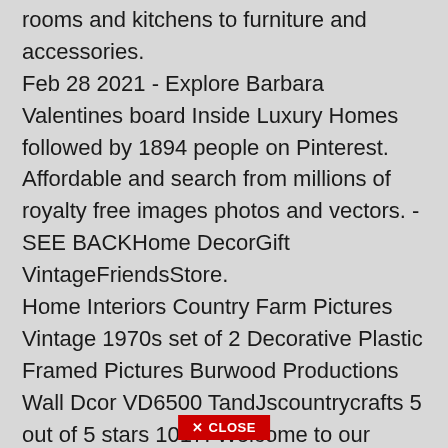house for anything you might need from photos of living rooms and kitchens to furniture and accessories. Feb 28 2021 - Explore Barbara Valentines board Inside Luxury Homes followed by 1894 people on Pinterest. Affordable and search from millions of royalty free images photos and vectors. - SEE BACKHome DecorGift VintageFriendsStore. Home Interiors Country Farm Pictures Vintage 1970s set of 2 Decorative Plastic Framed Pictures Burwood Productions Wall Dcor VD6500 TandJscountrycrafts 5 out of 5 stars 1017. Welcome to our exclusive rustic interior design ideas gallery featuring one of the most sought-after custom home builders Red Rock Contractors and designers Angelica Henry Design. Ekren Construction Example of a large classic master white tile and porcelain tile and in tile and design floor or so and design in
✕ CLOSE